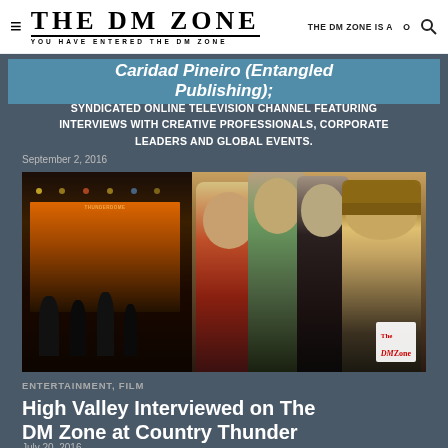THE DM ZONE — YOU HAVE ENTERED THE DM ZONE — THE DM ZONE IS A
Caridad Pineiro (Entangled Publishing);
SYNDICATED ONLINE TELEVISION CHANNEL FEATURING INTERVIEWS WITH CREATIVE PROFESSIONALS, CORPORATE LEADERS AND GLOBAL EVENTS.
September 2, 2016
[Figure (photo): Video thumbnail showing a group of people being interviewed at Country Thunder, with a concert stage scene on the left and interviewees on the right. DM Zone watermark in bottom right corner.]
ENTERTAINMENT, FILM
High Valley Interviewed on The DM Zone at Country Thunder
July 20, 2016